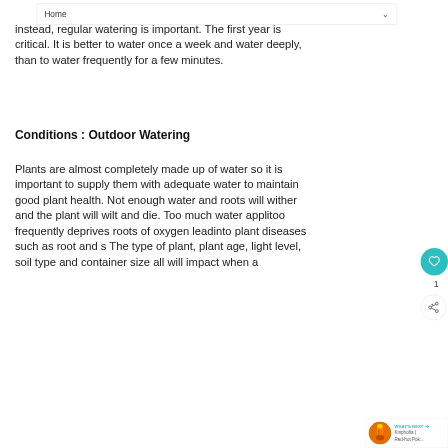Home
instead, regular watering is important. The first year is critical. It is better to water once a week and water deeply, than to water frequently for a few minutes.
Conditions : Outdoor Watering
Plants are almost completely made up of water so it is important to supply them with adequate water to maintain good plant health. Not enough water and roots will wither and the plant will wilt and die. Too much water applied too frequently deprives roots of oxygen leading to plant diseases such as root and stem. The type of plant, plant age, light level, soil type and container size all will impact when a